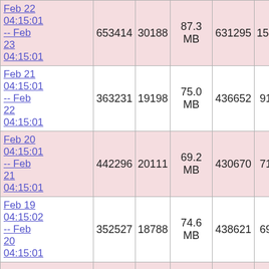| Feb 22 04:15:01 -- Feb 23 04:15:01 | 653414 | 30188 | 87.3 MB | 631295 | 15562 |  |
| Feb 21 04:15:01 -- Feb 22 04:15:01 | 363231 | 19198 | 75.0 MB | 436652 | 9118 |  |
| Feb 20 04:15:01 -- Feb 21 04:15:01 | 442296 | 20111 | 69.2 MB | 430670 | 7161 |  |
| Feb 19 04:15:02 -- Feb 20 04:15:01 | 352527 | 18788 | 74.6 MB | 438621 | 6944 |  |
| Feb 18 04:15:01 -- Feb 19 | 417778 | 17939 | 65.4 MB | 387625 | 8473 |  |